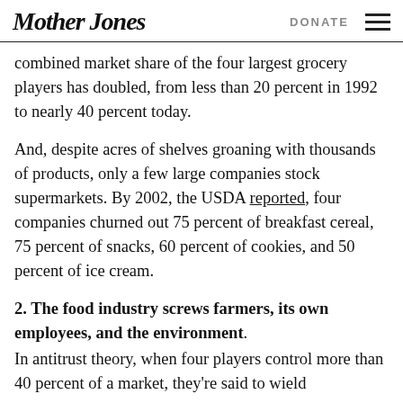Mother Jones  DONATE
combined market share of the four largest grocery players has doubled, from less than 20 percent in 1992 to nearly 40 percent today.
And, despite acres of shelves groaning with thousands of products, only a few large companies stock supermarkets. By 2002, the USDA reported, four companies churned out 75 percent of breakfast cereal, 75 percent of snacks, 60 percent of cookies, and 50 percent of ice cream.
2. The food industry screws farmers, its own employees, and the environment.
In antitrust theory, when four players control more than 40 percent of a market, they're said to wield